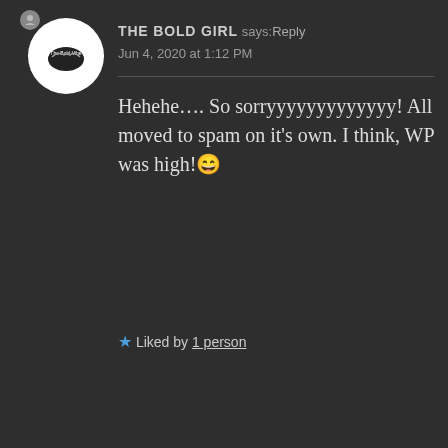THE BOLD GIRL says: Reply
Jun 4, 2020 at 1:12 PM
Hehehe.... So sorryyyyyyyyyyyyy! All moved to spam on it's own. I think, WP was high!😄
★ Liked by 1 person
ERA says: Reply
Jun 4, 2020 at 2:17 PM
Advertisements
[Figure (infographic): Jetpack advertisement banner with green background, Jetpack logo and name on left, 'Secure Your Site' white button on right]